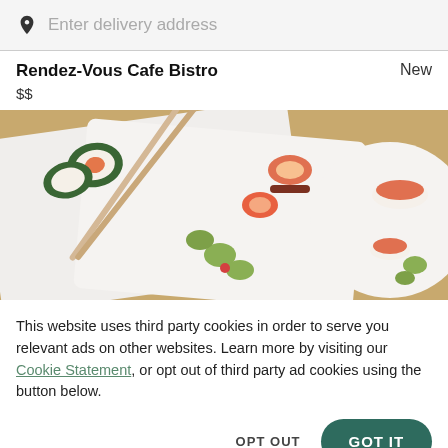Enter delivery address
Rendez-Vous Cafe Bistro
New
$$
[Figure (photo): Overhead photo of sushi and Japanese food dishes on white plates with chopsticks on a wooden board]
This website uses third party cookies in order to serve you relevant ads on other websites. Learn more by visiting our Cookie Statement, or opt out of third party ad cookies using the button below.
OPT OUT
GOT IT